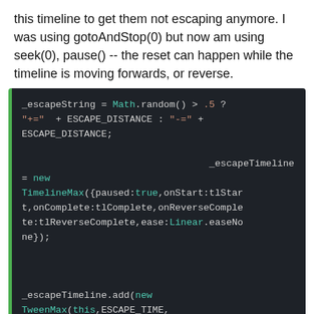this timeline to get them not escaping anymore. I was using gotoAndStop(0) but now am using seek(0), pause() -- the reset can happen while the timeline is moving forwards, or reverse.
[Figure (screenshot): Code block showing JavaScript/GSAP code with syntax highlighting on dark background]
As I said, I solved it, somehow -- but as I don't like